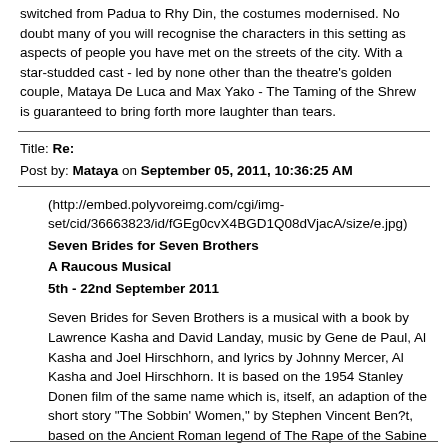switched from Padua to Rhy Din, the costumes modernised. No doubt many of you will recognise the characters in this setting as aspects of people you have met on the streets of the city. With a star-studded cast - led by none other than the theatre's golden couple, Mataya De Luca and Max Yako - The Taming of the Shrew is guaranteed to bring forth more laughter than tears.
Title: Re:
Post by: Mataya on September 05, 2011, 10:36:25 AM
(http://embed.polyvoreimg.com/cgi/img-set/cid/36663823/id/fGEg0cvX4BGD1Q08dVjacA/size/e.jpg)
Seven Brides for Seven Brothers
A Raucous Musical
5th - 22nd September 2011

Seven Brides for Seven Brothers is a musical with a book by Lawrence Kasha and David Landay, music by Gene de Paul, Al Kasha and Joel Hirschhorn, and lyrics by Johnny Mercer, Al Kasha and Joel Hirschhorn. It is based on the 1954 Stanley Donen film of the same name which is, itself, an adaption of the short story "The Sobbin' Women," by Stephen Vincent Ben?t, based on the Ancient Roman legend of The Rape of the Sabine Women.

Yes, people, the Shanachie is back and better than ever!